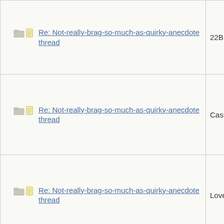| Thread Title | Author |
| --- | --- |
| Re: Not-really-brag-so-much-as-quirky-anecdote thread | 22B |
| Re: Not-really-brag-so-much-as-quirky-anecdote thread | Cassmo4 |
| Re: Not-really-brag-so-much-as-quirky-anecdote thread | Lovemyd |
| Re: Not-really-brag-so-much-as-quirky-anecdote thread | HowlerKa |
| Re: Not-really-brag-so-much-as-quirky-anecdote thread | Mana |
| Re: Not-really-brag-so-much-as-quirky-anecdote thread | aquinas |
| Re: Not-really-brag-so-much-as-quirky-anecdote thread | MumOfTh |